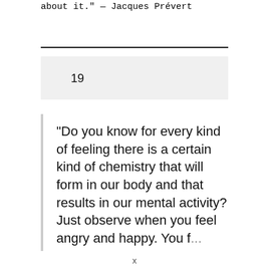about it. — Jacques Prévert
19
“Do you know for every kind of feeling there is a certain kind of chemistry that will form in our body and that results in our mental activity? Just observe when you feel angry and happy. You f...
x